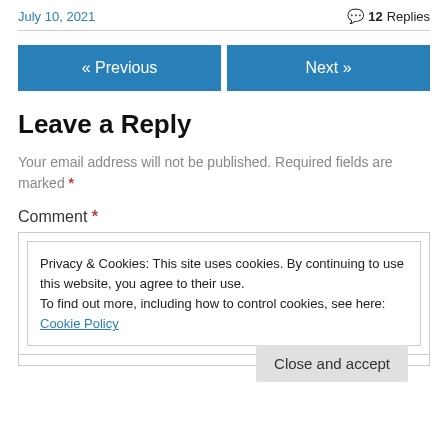July 10, 2021   💬 12 Replies
« Previous   Next »
Leave a Reply
Your email address will not be published. Required fields are marked *
Comment *
Privacy & Cookies: This site uses cookies. By continuing to use this website, you agree to their use.
To find out more, including how to control cookies, see here: Cookie Policy
Close and accept